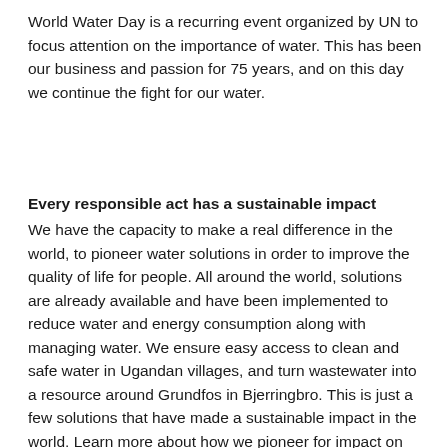World Water Day is a recurring event organized by UN to focus attention on the importance of water. This has been our business and passion for 75 years, and on this day we continue the fight for our water.
Every responsible act has a sustainable impact
We have the capacity to make a real difference in the world, to pioneer water solutions in order to improve the quality of life for people. All around the world, solutions are already available and have been implemented to reduce water and energy consumption along with managing water. We ensure easy access to clean and safe water in Ugandan villages, and turn wastewater into a resource around Grundfos in Bjerringbro. This is just a few solutions that have made a sustainable impact in the world. Learn more about how we pioneer for impact on our Journal19 site or take a look at our World Water Day site.